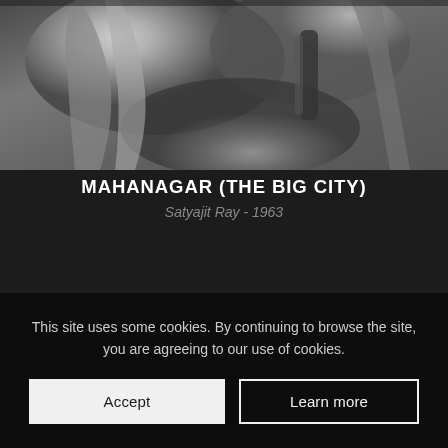[Figure (photo): Black and white film still showing close-up of hands, partially cropped at top of page]
MAHANAGAR (THE BIG CITY)
Satyajit Ray - 1963
This site uses some cookies. By continuing to browse the site, you are agreeing to our use of cookies.
Accept
Learn more